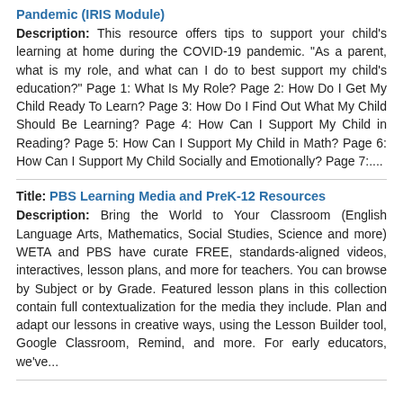Pandemic (IRIS Module) — Description: This resource offers tips to support your child's learning at home during the COVID-19 pandemic. "As a parent, what is my role, and what can I do to best support my child's education?" Page 1: What Is My Role? Page 2: How Do I Get My Child Ready To Learn? Page 3: How Do I Find Out What My Child Should Be Learning? Page 4: How Can I Support My Child in Reading? Page 5: How Can I Support My Child in Math? Page 6: How Can I Support My Child Socially and Emotionally? Page 7:...
Title: PBS Learning Media and PreK-12 Resources — Description: Bring the World to Your Classroom (English Language Arts, Mathematics, Social Studies, Science and more) WETA and PBS have curate FREE, standards-aligned videos, interactives, lesson plans, and more for teachers. You can browse by Subject or by Grade. Featured lesson plans in this collection contain full contextualization for the media they include. Plan and adapt our lessons in creative ways, using the Lesson Builder tool, Google Classroom, Remind, and more. For early educators, we've...